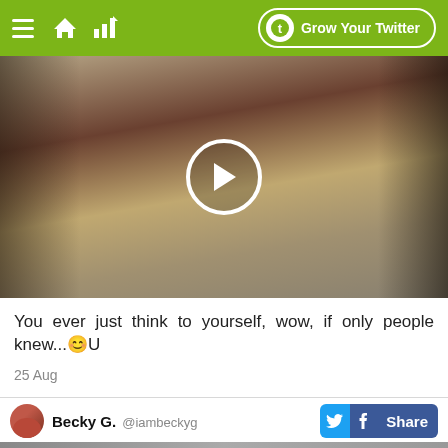Grow Your Twitter
[Figure (photo): Video thumbnail of a person on a motorcycle with others around, with a circular play button overlay]
You ever just think to yourself, wow, if only people knew...🙂U
25 Aug
Becky G.  @iambeckyg  Share